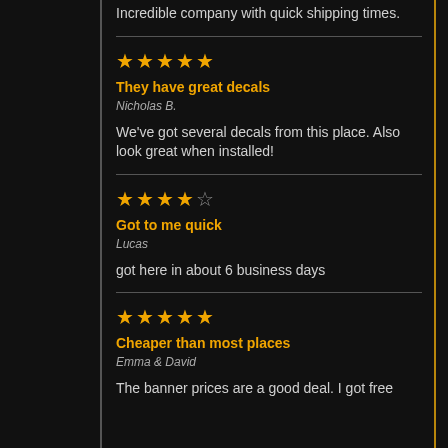Incredible company with quick shipping times.
★★★★★
They have great decals
Nicholas B.
We've got several decals from this place. Also look great when installed!
★★★★☆
Got to me quick
Lucas
got here in about 6 business days
★★★★★
Cheaper than most places
Emma & David
The banner prices are a good deal. I got free